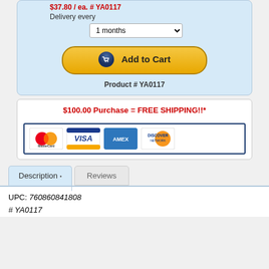$37.80 / ea. # YA0117
Delivery every
1 months
Add to Cart
Product # YA0117
$100.00 Purchase = FREE SHIPPING!!*
[Figure (other): Payment method logos: MasterCard, Visa, Amex, Discover]
Description
Reviews
UPC: 760860841808
# YA0117